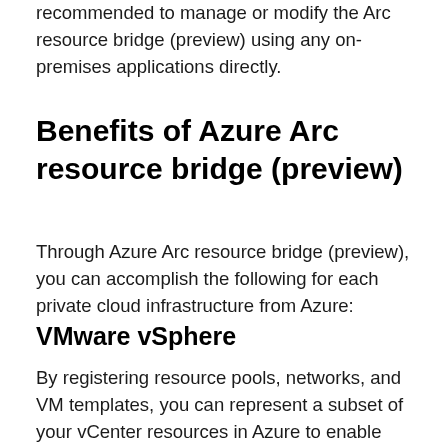recommended to manage or modify the Arc resource bridge (preview) using any on-premises applications directly.
Benefits of Azure Arc resource bridge (preview)
Through Azure Arc resource bridge (preview), you can accomplish the following for each private cloud infrastructure from Azure:
VMware vSphere
By registering resource pools, networks, and VM templates, you can represent a subset of your vCenter resources in Azure to enable self-service. Integration with Azure allows you to manage access to your vCenter resources in Azure to maintain a secure environment. You can also perform